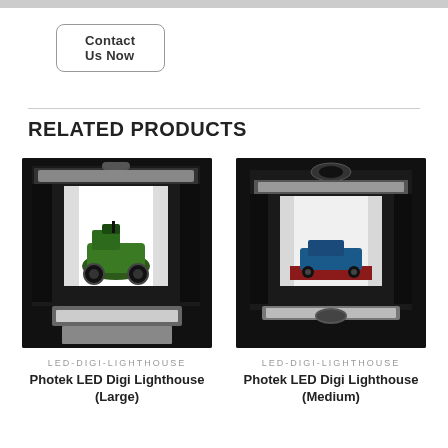Contact Us Now
RELATED PRODUCTS
[Figure (photo): Photek LED Digi Lighthouse Large - a black collapsible photo studio light tent with LED lighting, showing a green military toy truck inside]
LED-DIGI-LIGHTHOUSE
Photek LED Digi Lighthouse (Large)
[Figure (photo): Photek LED Digi Lighthouse Medium - a black collapsible photo studio light tent with LED lighting, showing a toy car on a red mat inside]
LED-DIGI-LIGHTHOUSE
Photek LED Digi Lighthouse (Medium)